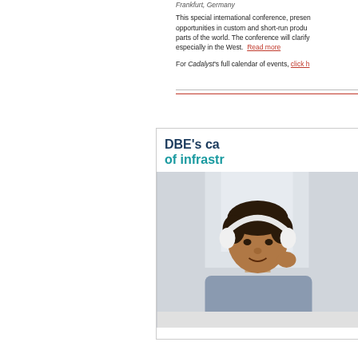Frankfurt, Germany
This special international conference, presenting opportunities in custom and short-run production parts of the world. The conference will clarify especially in the West. Read more
For Cadalyst's full calendar of events, click here
[Figure (illustration): Advertisement box with text 'DBE's ca... of infrastr...' and a photo of a man wearing white headphones sitting at a desk]